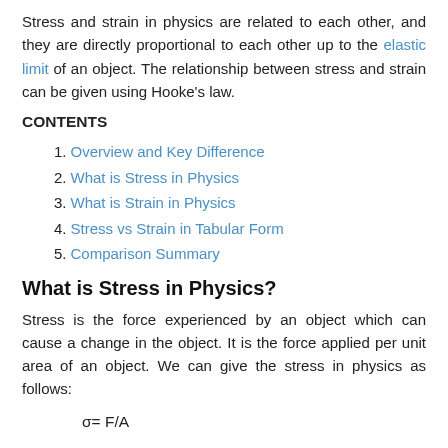Stress and strain in physics are related to each other, and they are directly proportional to each other up to the elastic limit of an object. The relationship between stress and strain can be given using Hooke's law.
CONTENTS
1. Overview and Key Difference
2. What is Stress in Physics
3. What is Strain in Physics
4. Stress vs Strain in Tabular Form
5. Comparison Summary
What is Stress in Physics?
Stress is the force experienced by an object which can cause a change in the object. It is the force applied per unit area of an object. We can give the stress in physics as follows: